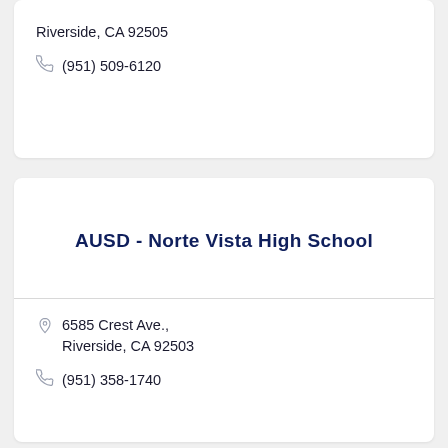Riverside, CA 92505
(951) 509-6120
AUSD - Norte Vista High School
6585 Crest Ave., Riverside, CA 92503
(951) 358-1740